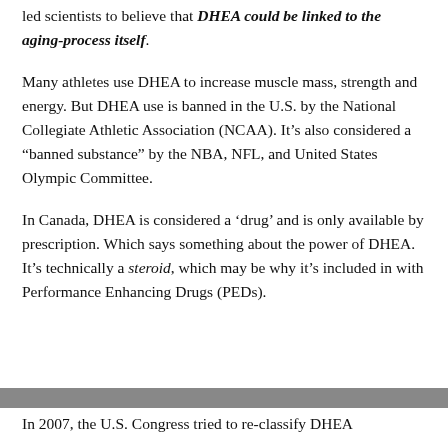led scientists to believe that DHEA could be linked to the aging-process itself.
Many athletes use DHEA to increase muscle mass, strength and energy. But DHEA use is banned in the U.S. by the National Collegiate Athletic Association (NCAA). It’s also considered a “banned substance” by the NBA, NFL, and United States Olympic Committee.
In Canada, DHEA is considered a ‘drug’ and is only available by prescription. Which says something about the power of DHEA. It’s technically a steroid, which may be why it’s included in with Performance Enhancing Drugs (PEDs).
Share This
In 2007, the U.S. Congress tried to re-classify DHEA